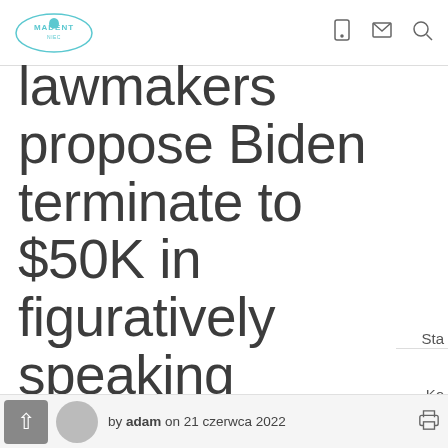Madent - lawmaker propose Biden terminate to $50K in figuratively speaking
lawmakers propose Biden terminate to $50K in figuratively speaking
by adam on 21 czerwca 2022